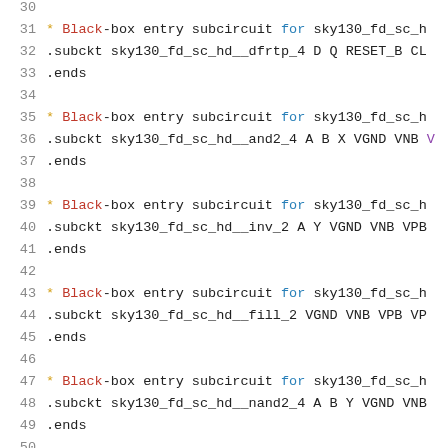30  (blank)
31  * Black-box entry subcircuit for sky130_fd_sc_h
32  .subckt sky130_fd_sc_hd__dfrtp_4 D Q RESET_B CL
33  .ends
34  (blank)
35  * Black-box entry subcircuit for sky130_fd_sc_h
36  .subckt sky130_fd_sc_hd__and2_4 A B X VGND VNB
37  .ends
38  (blank)
39  * Black-box entry subcircuit for sky130_fd_sc_h
40  .subckt sky130_fd_sc_hd__inv_2 A Y VGND VNB VPB
41  .ends
42  (blank)
43  * Black-box entry subcircuit for sky130_fd_sc_h
44  .subckt sky130_fd_sc_hd__fill_2 VGND VNB VPB VP
45  .ends
46  (blank)
47  * Black-box entry subcircuit for sky130_fd_sc_h
48  .subckt sky130_fd_sc_hd__nand2_4 A B Y VGND VNB
49  .ends
50  (blank)
51  * Black-box entry subcircuit for sky130_fd_sc_h